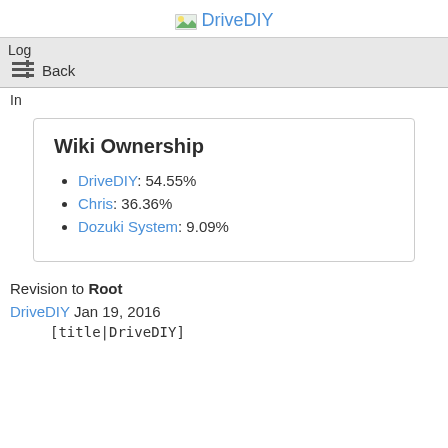DriveDIY
Log
Back
In
Wiki Ownership
DriveDIY: 54.55%
Chris: 36.36%
Dozuki System: 9.09%
Revision to Root
DriveDIY Jan 19, 2016
[title|DriveDIY]